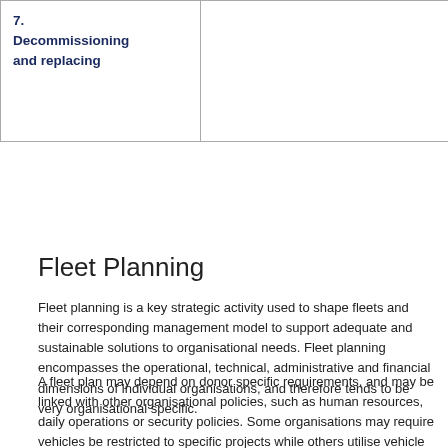| 7.
Decommissioning
and replacing |  |
Fleet Planning
Fleet planning is a key strategic activity used to shape fleets and their corresponding management model to support adequate and sustainable solutions to organisational needs. Fleet planning encompasses the operational, technical, administrative and financial dimensions of individual organisations, and therefore tends to be very organisational specific.
A fleet plan may depend on donor specific requirements, and may be linked with other organisational policies, such as human resources, daily operations or security policies. Some organisations may require vehicles be restricted to specific projects while others utilise vehicle pools to serve multiple projects. Driving policies can vary from a strict reliance on a dedicated driver from the organisation to using staff to drive the